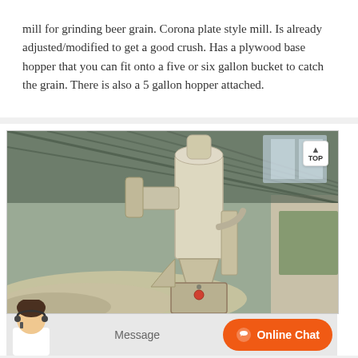mill for grinding beer grain. Corona plate style mill. Is already adjusted/modified to get a good crush. Has a plywood base hopper that you can fit onto a five or six gallon bucket to catch the grain. There is also a 5 gallon hopper attached.
[Figure (photo): Industrial grain mill machine (large cream/beige colored cyclone-style mill) inside a factory/warehouse building with corrugated metal roof. White powdery material or grain visible around the base of the machine.]